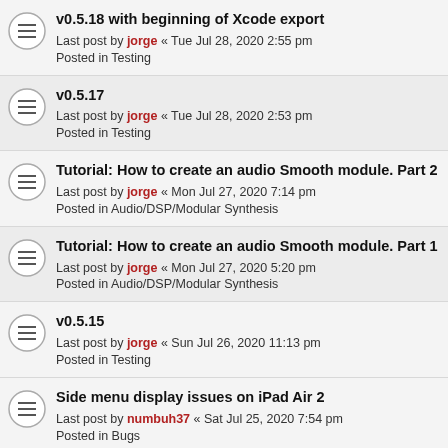v0.5.18 with beginning of Xcode export
Last post by jorge « Tue Jul 28, 2020 2:55 pm
Posted in Testing
v0.5.17
Last post by jorge « Tue Jul 28, 2020 2:53 pm
Posted in Testing
Tutorial: How to create an audio Smooth module. Part 2
Last post by jorge « Mon Jul 27, 2020 7:14 pm
Posted in Audio/DSP/Modular Synthesis
Tutorial: How to create an audio Smooth module. Part 1
Last post by jorge « Mon Jul 27, 2020 5:20 pm
Posted in Audio/DSP/Modular Synthesis
v0.5.15
Last post by jorge « Sun Jul 26, 2020 11:13 pm
Posted in Testing
Side menu display issues on iPad Air 2
Last post by numbuh37 « Sat Jul 25, 2020 7:54 pm
Posted in Bugs